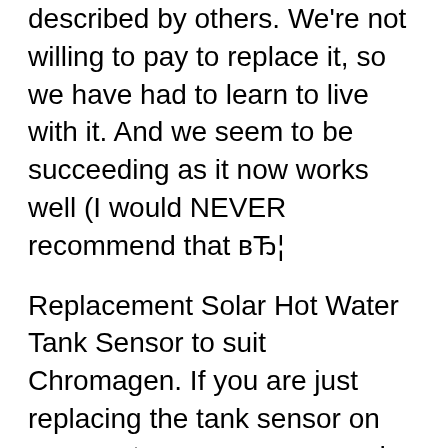described by others. We're not willing to pay to replace it, so we have had to learn to live with it. And we seem to be succeeding as it now works well (I would NEVER recommend that вЂ¦
Replacement Solar Hot Water Tank Sensor to suit Chromagen. If you are just replacing the tank sensor on your system, we recommend you check the sensor port or immersion sleeve for moisture. If there is moisture, the sensor port or immersion sleeve will need to be replaced. This is mostly a problem in the older stainless steel hot water tanks Replacement Solar Hot Water Tank Sensor to suit Chromagen. If you are just replacing the tank sensor